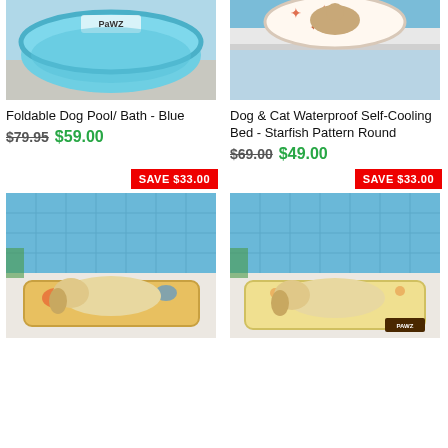[Figure (photo): Light blue foldable dog pool/bath product photo from above]
[Figure (photo): Dog & cat waterproof self-cooling bed with starfish pattern, round, with cat resting in it]
Foldable Dog Pool/ Bath - Blue
$79.95 $59.00
Dog & Cat Waterproof Self-Cooling Bed - Starfish Pattern Round
$69.00 $49.00
SAVE $33.00
SAVE $33.00
[Figure (photo): Yellow Labrador lying on a floral patterned cooling mat beside a pool]
[Figure (photo): Yellow Labrador lying on a yellow patterned cooling mat beside a pool]